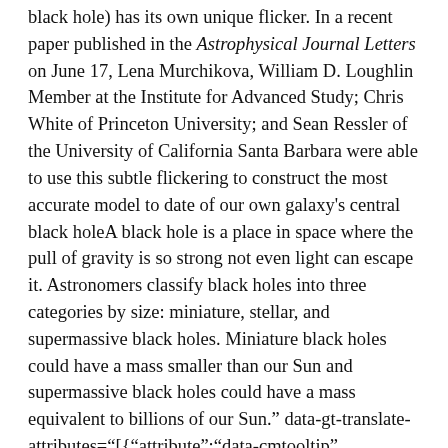black hole) has its own unique flicker. In a recent paper published in the Astrophysical Journal Letters on June 17, Lena Murchikova, William D. Loughlin Member at the Institute for Advanced Study; Chris White of Princeton University; and Sean Ressler of the University of California Santa Barbara were able to use this subtle flickering to construct the most accurate model to date of our own galaxy's central black holeA black hole is a place in space where the pull of gravity is so strong not even light can escape it. Astronomers classify black holes into three categories by size: miniature, stellar, and supermassive black holes. Miniature black holes could have a mass smaller than our Sun and supermassive black holes could have a mass equivalent to billions of our Sun." data-gt-translate-attributes="[{"attribute":"data-cmtooltip", "format":"html"}]">black hole—Sagittarius A* (Sgr A*)—providing insight into properties such as its structure and motion.